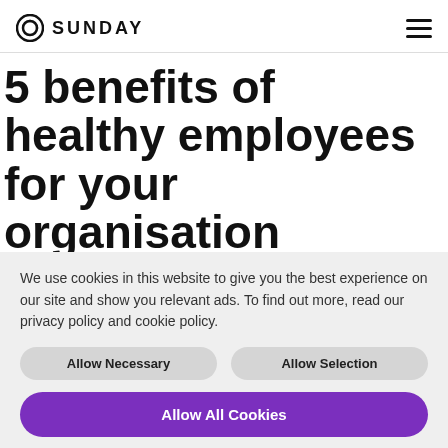SUNDAY
5 benefits of healthy employees for your organisation
We use cookies in this website to give you the best experience on our site and show you relevant ads. To find out more, read our privacy policy and cookie policy.
Allow Necessary | Allow Selection
Allow All Cookies
Necessary | Analytical | Marketing